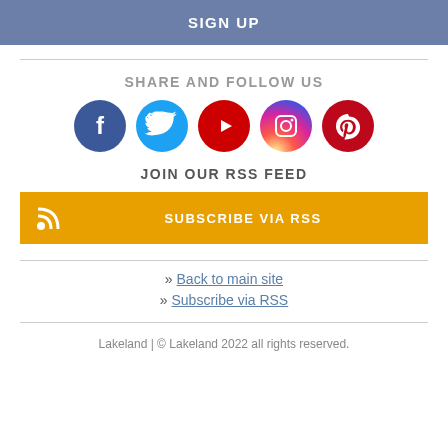SIGN UP
SHARE AND FOLLOW US
[Figure (illustration): Row of five social media icons: Facebook (dark blue), Twitter (light blue), YouTube (red), Instagram (gradient purple/red/orange), Pinterest (red)]
JOIN OUR RSS FEED
SUBSCRIBE VIA RSS
» Back to main site
» Subscribe via RSS
Lakeland | © Lakeland 2022 all rights reserved.